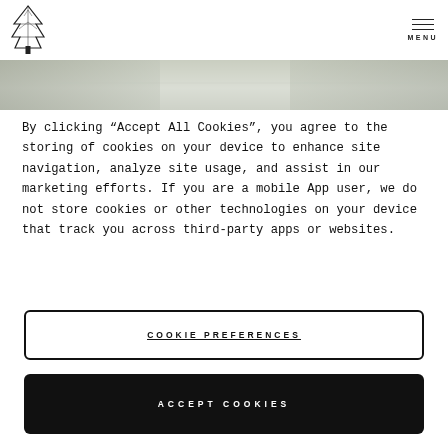MENU
[Figure (photo): A photo strip showing a blurred outdoor/nature scene in muted greens and grays]
By clicking “Accept All Cookies”, you agree to the storing of cookies on your device to enhance site navigation, analyze site usage, and assist in our marketing efforts. If you are a mobile App user, we do not store cookies or other technologies on your device that track you across third-party apps or websites.
COOKIE PREFERENCES
ACCEPT COOKIES